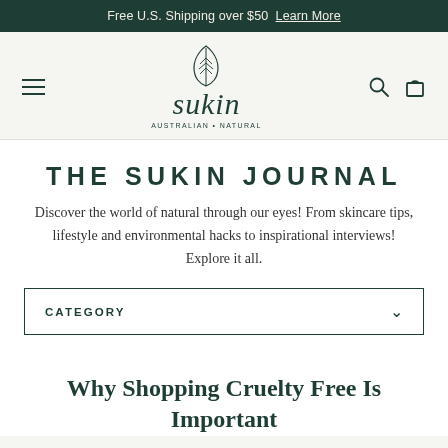Free U.S. Shipping over $50  Learn More
[Figure (logo): Sukin Australian Natural logo with leaf icon above wordmark]
THE SUKIN JOURNAL
Discover the world of natural through our eyes! From skincare tips, lifestyle and environmental hacks to inspirational interviews! Explore it all.
CATEGORY
Why Shopping Cruelty Free Is Important